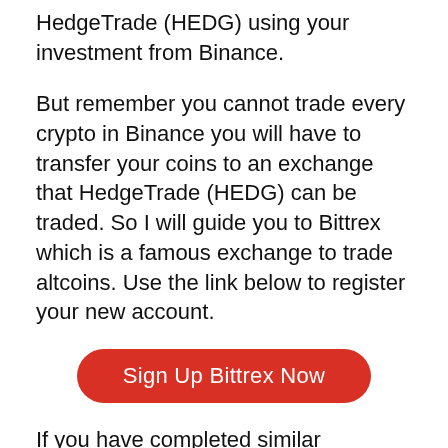HedgeTrade (HEDG) using your investment from Binance.
But remember you cannot trade every crypto in Binance you will have to transfer your coins to an exchange that HedgeTrade (HEDG) can be traded. So I will guide you to Bittrex which is a famous exchange to trade altcoins. Use the link below to register your new account.
[Figure (other): Red rounded button labeled 'Sign Up Bittrex Now']
If you have completed similar processes as we've done before with Binance you now are ready to transfer your Bitcoins.
Step 4: Depositing BTC t...